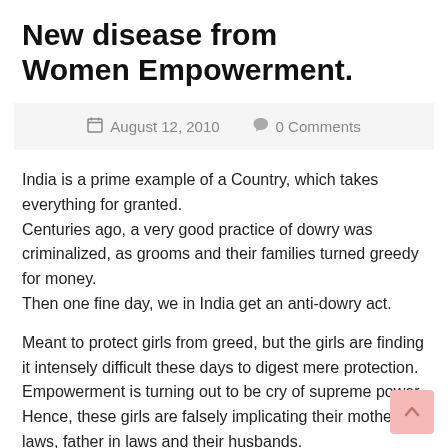New disease from Women Empowerment.
August 12, 2010   0 Comments
India is a prime example of a Country, which takes everything for granted.
Centuries ago, a very good practice of dowry was criminalized, as grooms and their families turned greedy for money.
Then one fine day, we in India get an anti-dowry act.
Meant to protect girls from greed, but the girls are finding it intensely difficult these days to digest mere protection. Empowerment is turning out to be cry of supreme power. Hence, these girls are falsely implicating their mother in laws, father in laws and their husbands.